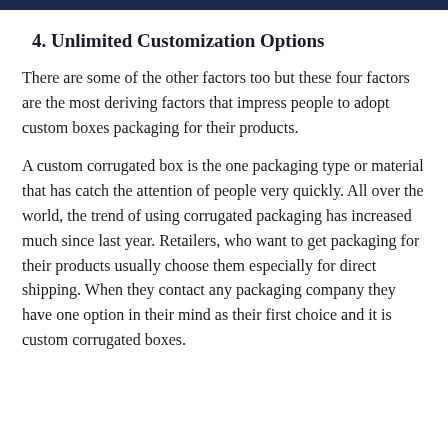4. Unlimited Customization Options
There are some of the other factors too but these four factors are the most deriving factors that impress people to adopt custom boxes packaging for their products.
A custom corrugated box is the one packaging type or material that has catch the attention of people very quickly. All over the world, the trend of using corrugated packaging has increased much since last year. Retailers, who want to get packaging for their products usually choose them especially for direct shipping. When they contact any packaging company they have one option in their mind as their first choice and it is custom corrugated boxes.